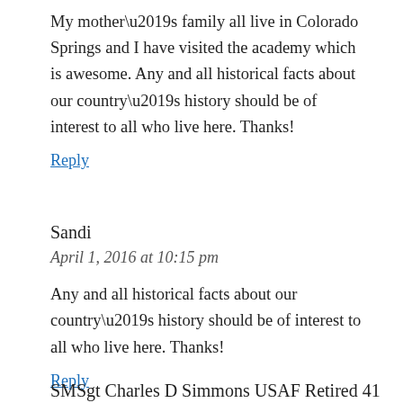My mother’s family all live in Colorado Springs and I have visited the academy which is awesome. Any and all historical facts about our country’s history should be of interest to all who live here. Thanks!
Reply
Sandi
April 1, 2016 at 10:15 pm
Any and all historical facts about our country’s history should be of interest to all who live here. Thanks!
Reply
SMSgt Charles D Simmons USAF Retired 41 yrs